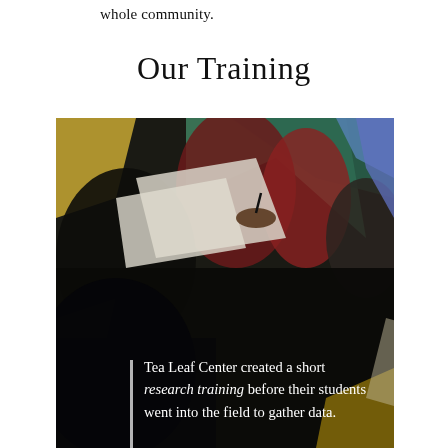whole community.
Our Training
[Figure (photo): Group of students engaged in a research or art activity, drawing or writing on paper, viewed from above in a darkened/painterly stylized photograph]
Tea Leaf Center created a short research training before their students went into the field to gather data.